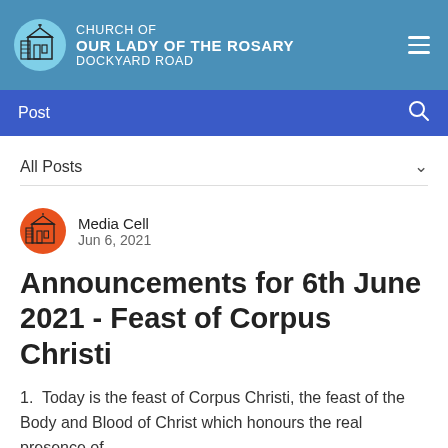CHURCH OF OUR LADY OF THE ROSARY DOCKYARD ROAD
Post
All Posts
Media Cell
Jun 6, 2021
Announcements for 6th June 2021 - Feast of Corpus Christi
1.  Today is the feast of Corpus Christi, the feast of the Body and Blood of Christ which honours the real presence of